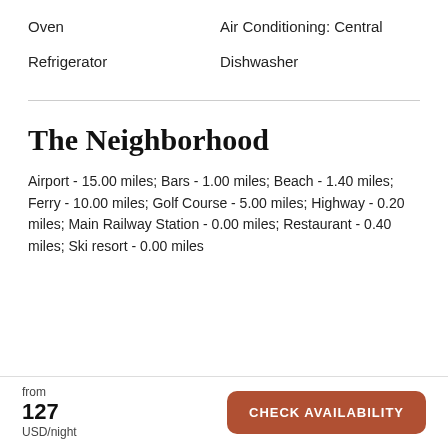Oven
Air Conditioning: Central
Refrigerator
Dishwasher
The Neighborhood
Airport - 15.00 miles; Bars - 1.00 miles; Beach - 1.40 miles; Ferry - 10.00 miles; Golf Course - 5.00 miles; Highway - 0.20 miles; Main Railway Station - 0.00 miles; Restaurant - 0.40 miles; Ski resort - 0.00 miles
from
127
USD/night
CHECK AVAILABILITY